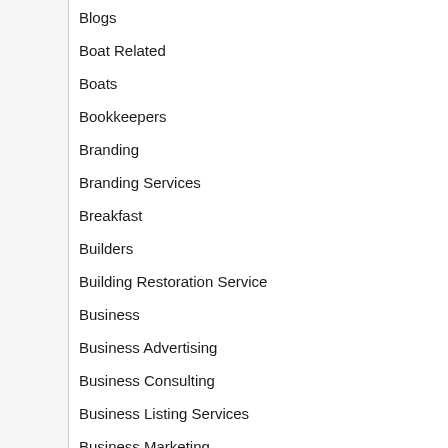Blogs
Boat Related
Boats
Bookkeepers
Branding
Branding Services
Breakfast
Builders
Building Restoration Service
Business
Business Advertising
Business Consulting
Business Listing Services
Business Marketing
Business Products